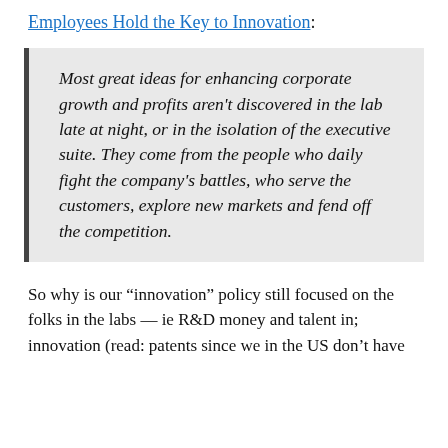Employees Hold the Key to Innovation:
Most great ideas for enhancing corporate growth and profits aren't discovered in the lab late at night, or in the isolation of the executive suite. They come from the people who daily fight the company's battles, who serve the customers, explore new markets and fend off the competition.
So why is our “innovation” policy still focused on the folks in the labs — ie R&D money and talent in; innovation (read: patents since we in the US don’t have any of the sense of growing…